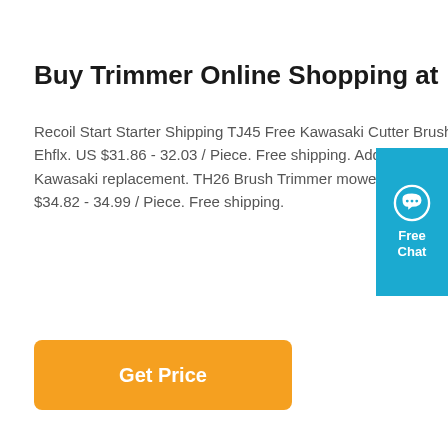Buy Trimmer Online Shopping at
Recoil Start Starter Shipping TJ45 Free Kawasaki Cutter Brush Pull TJ45E Trimmer For Ehflx. US $31.86 - 32.03 / Piece. Free shipping. Add to Cart Chat. Find Similar. for TH23 Kawasaki replacement. TH26 Brush Trimmer mower TH34 cutter Carburetor Babrf. US $34.82 - 34.99 / Piece. Free shipping.
[Figure (other): Orange 'Get Price' button]
[Figure (other): Blue Free Chat widget with speech bubble icon in the top-right corner]